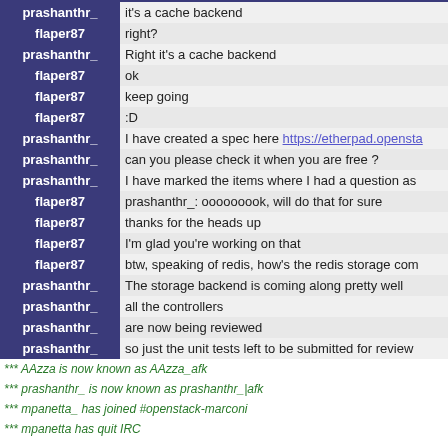| nick | message |
| --- | --- |
| prashanthr_ | it's a cache backend |
| flaper87 | right? |
| prashanthr_ | Right it's a cache backend |
| flaper87 | ok |
| flaper87 | keep going |
| flaper87 | :D |
| prashanthr_ | I have created a spec here https://etherpad.opensta... |
| prashanthr_ | can you please check it when you are free ? |
| prashanthr_ | I have marked the items where I had a question as |
| flaper87 | prashanthr_: ooooooook, will do that for sure |
| flaper87 | thanks for the heads up |
| flaper87 | I'm glad you're working on that |
| flaper87 | btw, speaking of redis, how's the redis storage com... |
| prashanthr_ | The storage backend is coming along pretty well |
| prashanthr_ | all the controllers |
| prashanthr_ | are now being reviewed |
| prashanthr_ | so just the unit tests left to be submitted for review... |
*** AAzza is now known as AAzza_afk
*** prashanthr_ is now known as prashanthr_|afk
*** mpanetta_ has joined #openstack-marconi
*** mpanetta has quit IRC